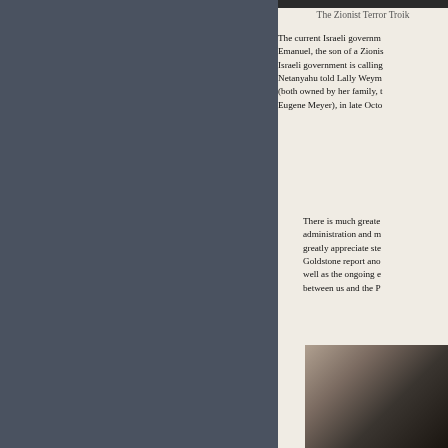[Figure (photo): Dark banner photo at top right]
The Zionist Terror Troik
The current Israeli governm... Emanuel, the son of a Zionis... Israeli government is calling... Netanyahu told Lally Weym... (both owned by her family, t... Eugene Meyer), in late Octo...
There is much greate... administration and m... greatly appreciate ste... Goldstone report ano... well as the ongoing e... between us and the P...
[Figure (photo): Photo of two men in suits at bottom right]